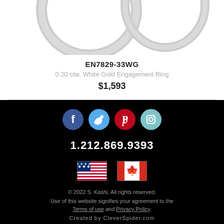[Figure (photo): Product photo showing two white gold engagement rings from above, partially cropped at the top.]
EN7829-33WG
0.20 ctw. White Gold Engagement Ring
$1,593
[Figure (infographic): Social media icons: Facebook (blue circle), Twitter (light blue circle), Pinterest (red circle), Instagram (light blue/teal circle)]
1.212.869.9393
[Figure (infographic): Two flag icons: US flag and Canadian flag]
© 2022 S. Kashi. All rights reserved.
Use of this website signifies your agreement to the
Terms of use and Privacy Policy.
Created by CleverSpider.com